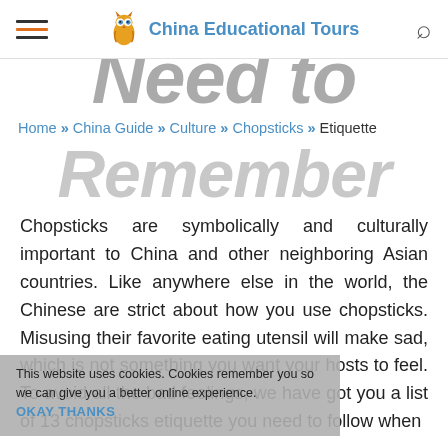China Educational Tours
Need to
Home » China Guide » Culture » Chopsticks » Etiquette
Remember
Chopsticks are symbolically and culturally important to China and other neighboring Asian countries. Like anywhere else in the world, the Chinese are strict about how you use chopsticks. Misusing their favorite eating utensil will make sad, which is not something you want your hosts to feel. To avoid all the bad feelings, we have got you a list of 13 chopsticks etiquette you need to follow when
This website uses cookies. Cookies remember you so we can give you a better online experience. OKAY THANKS